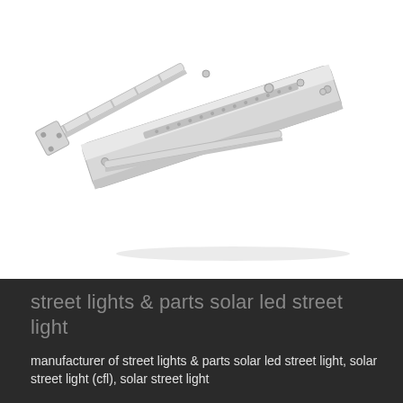[Figure (photo): Photo of a solar LED street light fixture showing its aluminum bracket and panel assembly laid flat, with a silvery-white finish and visible mounting holes and screws.]
street lights & parts solar led street light
manufacturer of street lights & parts solar led street light, solar street light (cfl), solar street light